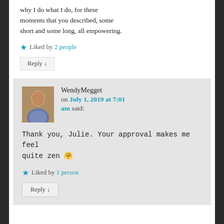why I do what I do, for these moments that you described, some short and some long, all empowering.
★ Liked by 2 people
Reply ↓
WendyMegget on July 1, 2019 at 7:01 am said:
Thank you, Julie. Your approval makes me feel quite zen 🤗
★ Liked by 1 person
Reply ↓